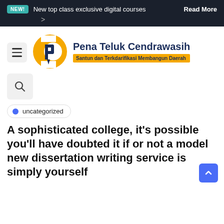NEW!  New top class exclusive digital courses  Read More  >
[Figure (logo): Pena Teluk Cendrawasih website logo — yellow circular C shape with a dark P letter inside, accompanied by brand name 'Pena Teluk Cendrawasih' in dark navy bold text and orange tagline 'Santun dan Terkdarifikasi Membangun Daerah']
uncategorized
A sophisticated college, it’s possible you’ll have doubted it if or not a model new dissertation writing service is simply yourself